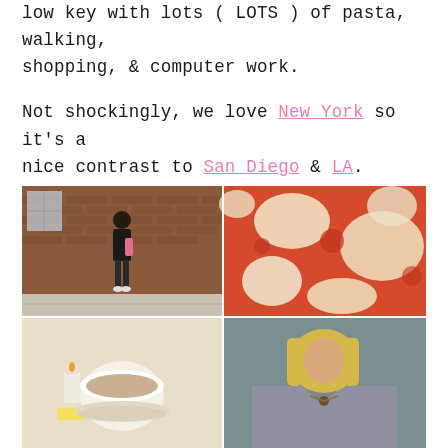low key with lots ( LOTS ) of pasta, walking, shopping, & computer work.
Not shockingly, we love New York so it's a nice contrast to San Diego & LA.
[Figure (photo): A 2x2 grid of photos: top-left shows a woman in black outfit standing against a brick wall on a city sidewalk; top-right shows a close-up of pizza with red sauce and melted cheese; bottom-left shows a coffee cup with candle and butter on a table; bottom-right shows a blonde woman in a gray top.]